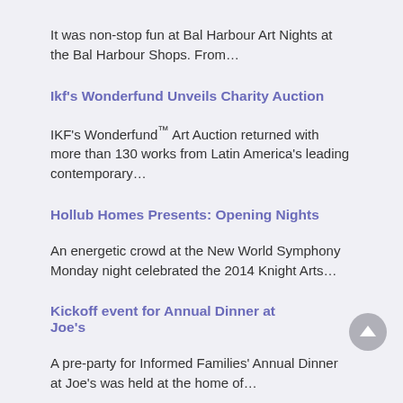It was non-stop fun at Bal Harbour Art Nights at the Bal Harbour Shops. From…
Ikf's Wonderfund Unveils Charity Auction
IKF's Wonderfund™ Art Auction returned with more than 130 works from Latin America's leading contemporary…
Hollub Homes Presents: Opening Nights
An energetic crowd at the New World Symphony Monday night celebrated the 2014 Knight Arts…
Kickoff event for Annual Dinner at Joe's
A pre-party for Informed Families' Annual Dinner at Joe's was held at the home of…